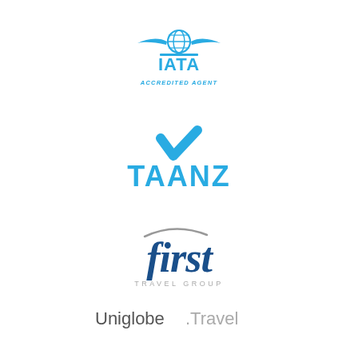[Figure (logo): IATA Accredited Agent logo with globe and wings icon in blue, text IATA in bold blue and ACCREDITED AGENT in smaller blue italic caps below]
[Figure (logo): TAANZ logo with blue checkmark above bold blue text TAANZ]
[Figure (logo): First Travel Group logo with italic script 'first' in dark blue and 'TRAVEL GROUP' in small grey caps below]
[Figure (logo): Uniglobe.Travel logo with 'Uniglobe' in dark grey and '.Travel' in light grey]